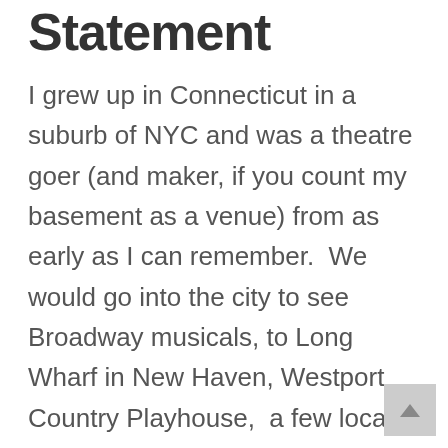Statement
I grew up in Connecticut in a suburb of NYC and was a theatre goer (and maker, if you count my basement as a venue) from as early as I can remember.  We would go into the city to see Broadway musicals, to Long Wharf in New Haven, Westport Country Playhouse,  a few local Dinner Theaters and of course the town High School.  Now, years later, I count NYC as my home base, and am also happy to say that my work has taken me to states all